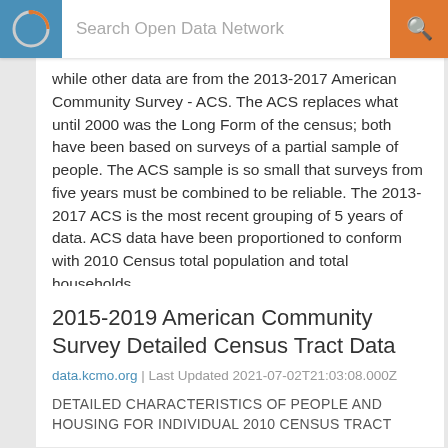Search Open Data Network
while other data are from the 2013-2017 American Community Survey - ACS. The ACS replaces what until 2000 was the Long Form of the census; both have been based on surveys of a partial sample of people. The ACS sample is so small that surveys from five years must be combined to be reliable. The 2013-2017 ACS is the most recent grouping of 5 years of data. ACS data have been proportioned to conform with 2010 Census total population and total households.
2015-2019 American Community Survey Detailed Census Tract Data
data.kcmo.org | Last Updated 2021-07-02T21:03:08.000Z
DETAILED CHARACTERISTICS OF PEOPLE AND HOUSING FOR INDIVIDUAL 2010 CENSUS TRACT